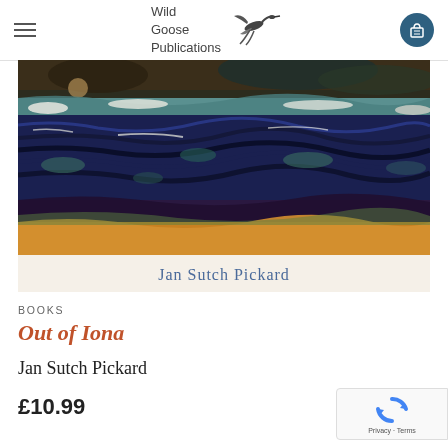Wild Goose Publications
[Figure (photo): Book cover of 'Out of Iona' by Jan Sutch Pickard — abstract watercolour painting showing layered ocean waves in dark navy and blue with white foam, golden sandy shore at the bottom, and a dark sky with brown and teal tones at top. Author name 'Jan Sutch Pickard' appears in blue text on a cream background strip at the bottom of the cover.]
BOOKS
Out of Iona
Jan Sutch Pickard
£10.99